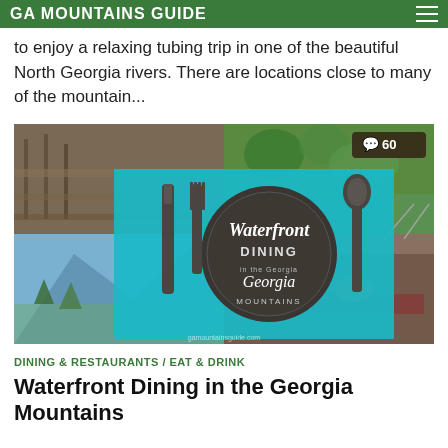GA MOUNTAINS GUIDE
to enjoy a relaxing tubing trip in one of the beautiful North Georgia rivers. There are locations close to many of the mountain...
[Figure (photo): Collage of waterfront dining scenes in Georgia Mountains with central graphic overlay showing 'Waterfront Dining in the Georgia Mountains' with fork, knife, and spoon on a teal background. Comment count badge showing 60.]
DINING & RESTAURANTS / EAT & DRINK
Waterfront Dining in the Georgia Mountains